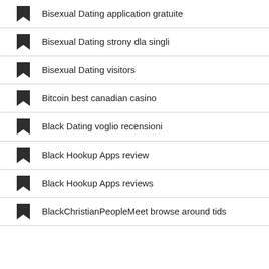Bisexual Dating application gratuite
Bisexual Dating strony dla singli
Bisexual Dating visitors
Bitcoin best canadian casino
Black Dating voglio recensioni
Black Hookup Apps review
Black Hookup Apps reviews
BlackChristianPeopleMeet browse around tids